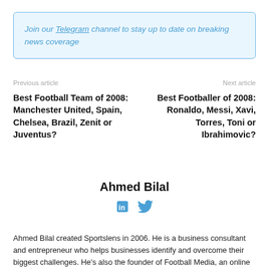Join our Telegram channel to stay up to date on breaking news coverage
Previous article
Next article
Best Football Team of 2008: Manchester United, Spain, Chelsea, Brazil, Zenit or Juventus?
Best Footballer of 2008: Ronaldo, Messi, Xavi, Torres, Toni or Ibrahimovic?
Ahmed Bilal
Ahmed Bilal created Sportslens in 2006. He is a business consultant and entrepreneur who helps businesses identify and overcome their biggest challenges. He's also the founder of Football Media, an online advertising agency that specialises in sports and male audience targeting, with a monthly reach of